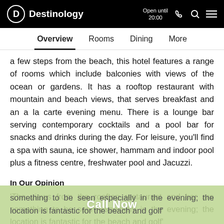Destinology — Open until 20:00
Overview  Rooms  Dining  More
a few steps from the beach, this hotel features a range of rooms which include balconies with views of the ocean or gardens. It has a rooftop restaurant with mountain and beach views, that serves breakfast and an a la carte evening menu. There is a lounge bar serving contemporary cocktails and a pool bar for snacks and drinks during the day. For leisure, you'll find a spa with sauna, ice shower, hammam and indoor pool plus a fitness centre, freshwater pool and Jacuzzi.
In Our Opinion
'The views from the rooftop restaurant and bar are something to be seen especially in the evening; the location is fantastic for the beach and golf'